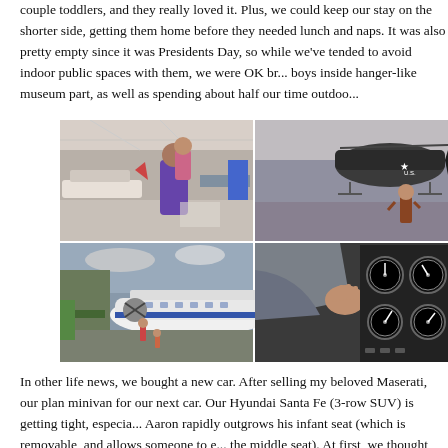couple toddlers, and they really loved it. Plus, we could keep our stay on the shorter side, getting them home before they needed lunch and naps. It was also pretty empty since it was Presidents Day, so while we've tended to avoid indoor public spaces with them, we were OK bringing the boys inside hanger-like museum part, as well as spending about half our time outdoo...
[Figure (photo): Four photos arranged in a 2x2 grid showing an aviation/air museum. Top-left: adult holding a child looking at aircraft inside a large hangar. Top-right: young child walking in hangar with helicopter. Bottom-left: large propeller aircraft parked outside with two small children nearby. Bottom-right: close-up of a child's hand on aircraft cockpit instruments.]
In other life news, we bought a new car. After selling my beloved Maserati, our plan was to get a minivan for our next car. Our Hyundai Santa Fe (3-row SUV) is getting tight, especially as Aaron rapidly outgrows his infant seat (which is removable, and allows someone to e... the middle seat). At first, we thought we'd take our time, but as we started shopping we were in for a shock regarding the new car market. We knew what we wanted, but no dealersh...